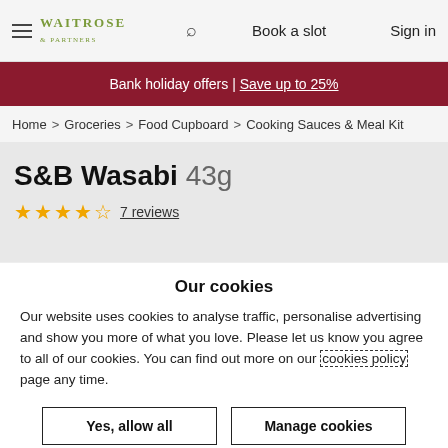Waitrose & Partners — Book a slot  Sign in
Bank holiday offers | Save up to 25%
Home > Groceries > Food Cupboard > Cooking Sauces & Meal Kit
S&B Wasabi 43g
★★★★☆ 7 reviews
Our cookies
Our website uses cookies to analyse traffic, personalise advertising and show you more of what you love. Please let us know you agree to all of our cookies. You can find out more on our cookies policy page any time.
Yes, allow all
Manage cookies